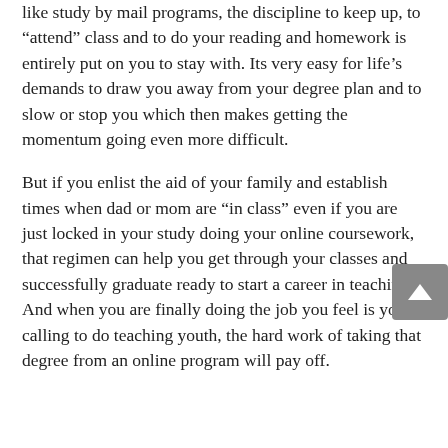like study by mail programs, the discipline to keep up, to “attend” class and to do your reading and homework is entirely put on you to stay with. Its very easy for life’s demands to draw you away from your degree plan and to slow or stop you which then makes getting the momentum going even more difficult.
But if you enlist the aid of your family and establish times when dad or mom are “in class” even if you are just locked in your study doing your online coursework, that regimen can help you get through your classes and successfully graduate ready to start a career in teaching. And when you are finally doing the job you feel is your calling to do teaching youth, the hard work of taking that degree from an online program will pay off.